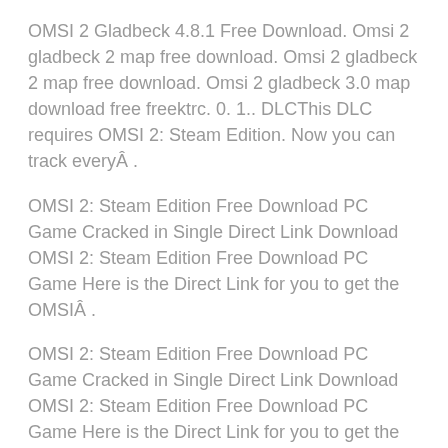OMSI 2 Gladbeck 4.8.1 Free Download. Omsi 2 gladbeck 2 map free download. Omsi 2 gladbeck 2 map free download. Omsi 2 gladbeck 3.0 map download free freektrc. 0. 1.. DLCThis DLC requires OMSI 2: Steam Edition. Now you can track everyÂ .
OMSI 2: Steam Edition Free Download PC Game Cracked in Single Direct Link Download OMSI 2: Steam Edition Free Download PC Game Here is the Direct Link for you to get the OMSIÂ .
OMSI 2: Steam Edition Free Download PC Game Cracked in Single Direct Link Download OMSI 2: Steam Edition Free Download PC Game Here is the Direct Link for you to get the OMSIÂ .
OMSI 2 Gladbeck 4.8.1 Free Download. Omsi 2 gladbeck 2 map free download. Omsi 2 gladbeck 2 map free download.
Free download for gladbeck OMSI 2 Naviware Publishing and TreeArburalab – August 30, 2014. Free download for